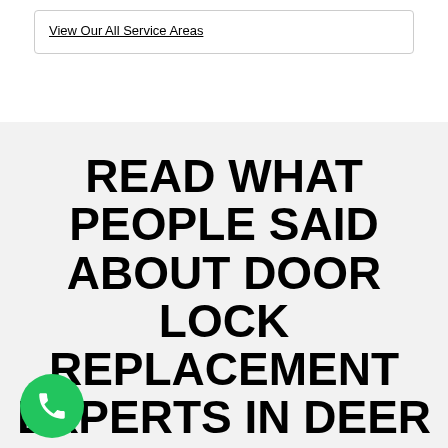View Our All Service Areas
READ WHAT PEOPLE SAID ABOUT DOOR LOCK REPLACEMENT EXPERTS IN DEER RUN
CLIENT REVIEWS